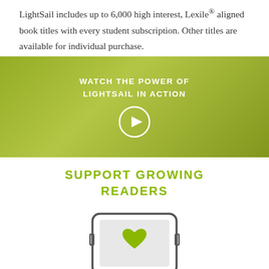LightSail includes up to 6,000 high interest, Lexile® aligned book titles with every student subscription. Other titles are available for individual purchase.
[Figure (screenshot): Video banner with olive-green background showing text 'WATCH THE POWER OF LIGHTSAIL IN ACTION' with a circular play button icon]
SUPPORT GROWING READERS
[Figure (illustration): Illustration of a tablet/e-reader device with a green heart icon on screen and a pencil below it]